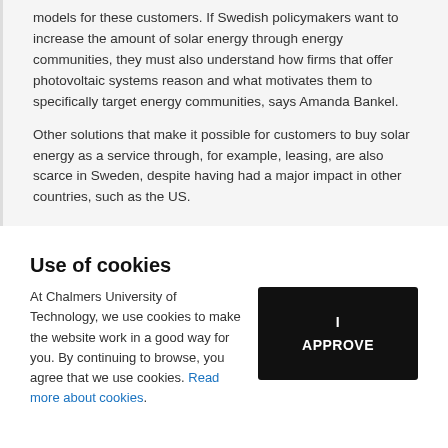models for these customers. If Swedish policymakers want to increase the amount of solar energy through energy communities, they must also understand how firms that offer photovoltaic systems reason and what motivates them to specifically target energy communities, says Amanda Bankel.
Other solutions that make it possible for customers to buy solar energy as a service through, for example, leasing, are also scarce in Sweden, despite having had a major impact in other countries, such as the US.
Use of cookies
At Chalmers University of Technology, we use cookies to make the website work in a good way for you. By continuing to browse, you agree that we use cookies. Read more about cookies.